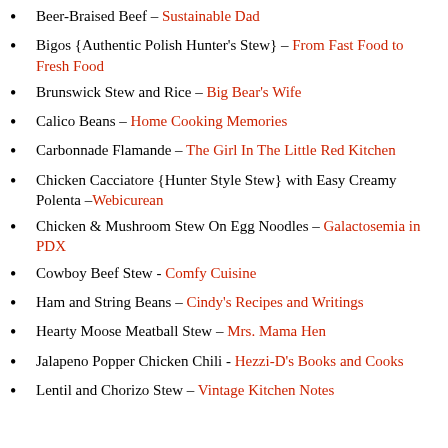Beer-Braised Beef – Sustainable Dad
Bigos {Authentic Polish Hunter's Stew} – From Fast Food to Fresh Food
Brunswick Stew and Rice – Big Bear's Wife
Calico Beans – Home Cooking Memories
Carbonnade Flamande – The Girl In The Little Red Kitchen
Chicken Cacciatore {Hunter Style Stew} with Easy Creamy Polenta – Webicurean
Chicken & Mushroom Stew On Egg Noodles – Galactosemia in PDX
Cowboy Beef Stew - Comfy Cuisine
Ham and String Beans – Cindy's Recipes and Writings
Hearty Moose Meatball Stew – Mrs. Mama Hen
Jalapeno Popper Chicken Chili - Hezzi-D's Books and Cooks
Lentil and Chorizo Stew – Vintage Kitchen Notes